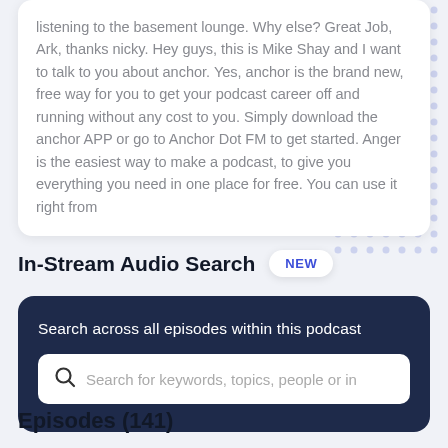listening to the basement lounge. Why else? Great Job, Ark, thanks nicky. Hey guys, this is Mike Shay and I want to talk to you about anchor. Yes, anchor is the brand new, free way for you to get your podcast career off and running without any cost to you. Simply download the anchor APP or go to Anchor Dot FM to get started. Anger is the easiest way to make a podcast, to give you everything you need in one place for free. You can use it right from
In-Stream Audio Search
[Figure (other): NEW badge pill label in blue text on white background]
Search across all episodes within this podcast
Search for keywords, topics, people or in
Episodes (141)